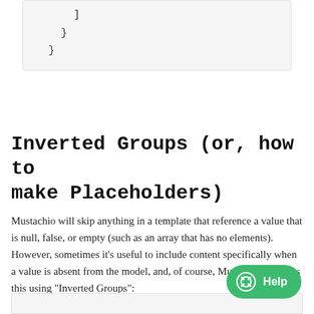]
}
}
Inverted Groups (or, how to make Placeholders)
Mustachio will skip anything in a template that reference a value that is null, false, or empty (such as an array that has no elements). However, sometimes it's useful to include content specifically when a value is absent from the model, and, of course, Mustachio supports this using "Inverted Groups":